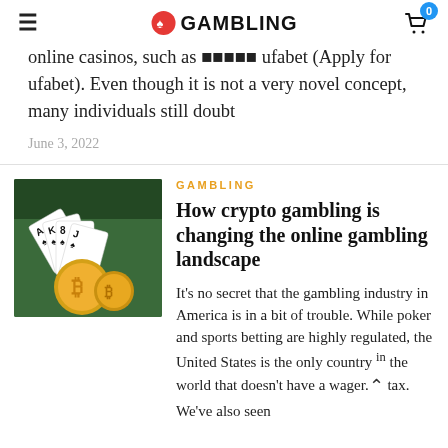≡ GAMBLING (logo) 🛒 0
online casinos, such as สมัคร ufabet (Apply for ufabet). Even though it is not a very novel concept, many individuals still doubt
June 3, 2022
[Figure (photo): Playing cards (Ace, King, 8, Jack) fanned out with gold Bitcoin coins in front, on a green casino table background.]
GAMBLING
How crypto gambling is changing the online gambling landscape
It's no secret that the gambling industry in America is in a bit of trouble. While poker and sports betting are highly regulated, the United States is the only country in the world that doesn't have a wager. tax. We've also seen